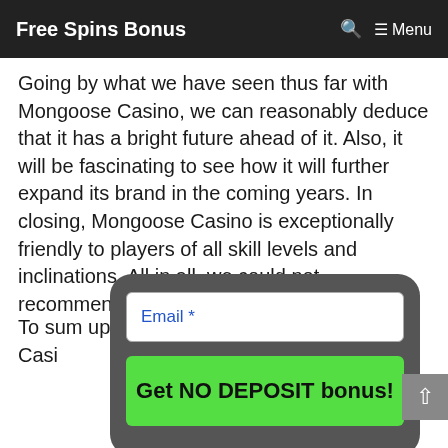Free Spins Bonus  🔍  ≡ Menu
Going by what we have seen thus far with Mongoose Casino, we can reasonably deduce that it has a bright future ahead of it. Also, it will be fascinating to see how it will further expand its brand in the coming years. In closing, Mongoose Casino is exceptionally friendly to players of all skill levels and inclinations. All in all, we could not recommend it highly enough!
To sum up, our overall rating for Mongoose Casi
[Figure (screenshot): A modal popup with a dark grey rounded rectangle background containing an email input field labeled 'Email *' in blue text, and a green button labeled 'Get NO DEPOSIT bonus!' in bold black text.]